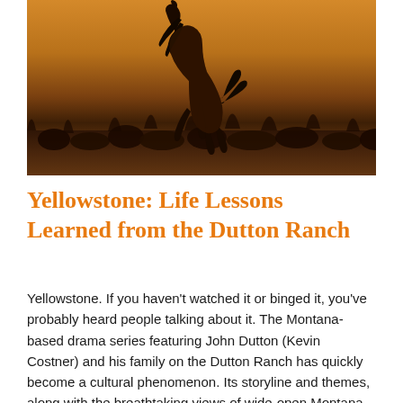[Figure (photo): A dramatic silhouette of a rearing horse against a warm amber/orange sunset sky, with dark grassy vegetation in the foreground. The image has a golden-brown color palette evoking the American West.]
Yellowstone: Life Lessons Learned from the Dutton Ranch
Yellowstone. If you haven't watched it or binged it, you've probably heard people talking about it. The Montana-based drama series featuring John Dutton (Kevin Costner) and his family on the Dutton Ranch has quickly become a cultural phenomenon. Its storyline and themes, along with the breathtaking views of wide-open Montana, are sticky. They grab onto [...]